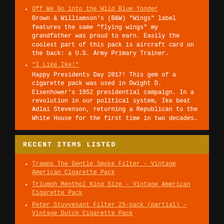Off We Go into the Wild Blue Yonder — Brown & Williamson's (B&W) "Wings" label features the same "flying wings" my grandfather was proud to earn. Easily the coolest part of this pack is aircraft card on the back: a U.S. Army Primary Trainer.
"I Like Ike!" — Happy Presidents Day 2017! This gem of a cigarette pack was used in Dwight D. Eisenhower's 1952 presidential campaign. In a revolution in our political system, Ike beat Adlai Stevenson, returning a Republican to the White House for the first time in two decades.
RECENT ITEMS LISTED
Tramps The Gentle Smoke Filter – Vintage American Cigarette Pack
Triumph Menthol King Size – Vintage American Cigarette Pack
Peter Stuyvesant Filter 25-pack (partial) – Vintage Dutch Cigarette Pack
Are you passionate about cigarettes and advertising?
Check out these resources from Amazon.com: